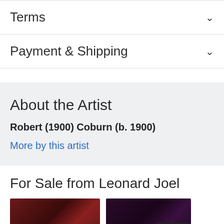Terms
Payment & Shipping
About the Artist
Robert (1900) Coburn (b. 1900)
More by this artist
For Sale from Leonard Joel
[Figure (photo): Two rug/carpet thumbnail photos shown at the bottom of the page]
[Figure (screenshot): Chat/message button overlay in bottom right corner]